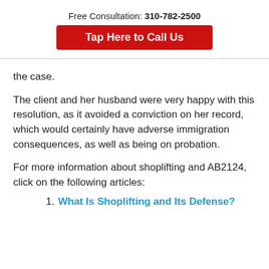Free Consultation: 310-782-2500
Tap Here to Call Us
the case.
The client and her husband were very happy with this resolution, as it avoided a conviction on her record, which would certainly have adverse immigration consequences, as well as being on probation.
For more information about shoplifting and AB2124, click on the following articles:
1. What Is Shoplifting and Its Defense?